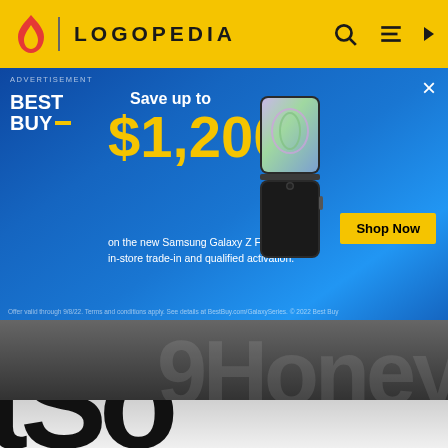LOGOPEDIA
[Figure (screenshot): Best Buy advertisement banner: Save up to $1,200 on the new Samsung Galaxy Z Flip4 with in-store trade-in and qualified activation. Shop Now button. Shows Samsung Galaxy Z Flip4 phone image.]
9Honey
Logopedia
[Figure (logo): Partial view of a large black logo on white/gray gradient background, letters partially visible]